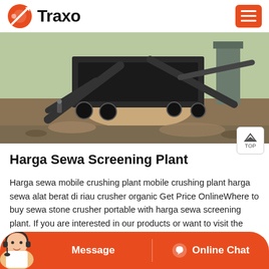Traxo
[Figure (photo): Industrial mobile crushing and screening plant equipment at a construction/quarry site, with conveyor belts, machinery, and earthen terrain in the background.]
Harga Sewa Screening Plant
Harga sewa mobile crushing plant mobile crushing plant harga sewa alat berat di riau crusher organic Get Price OnlineWhere to buy sewa stone crusher portable with harga sewa screening plant. If you are interested in our products or want to visit the nearby production site, you can click the ...